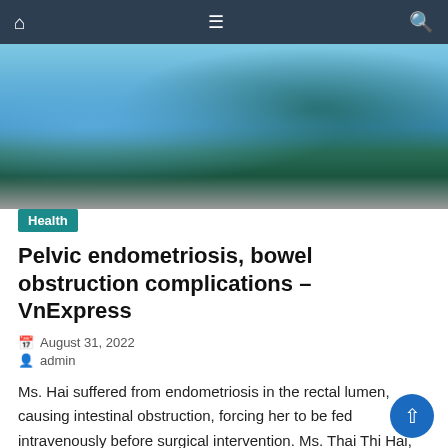Navigation bar with home, menu, and search icons
[Figure (photo): Medical/surgical scene showing healthcare workers in blue surgical gowns performing a procedure, with surgical instruments and equipment visible on a blue-draped table, and a teal/green drape in the foreground.]
Health
Pelvic endometriosis, bowel obstruction complications – VnExpress
August 31, 2022
admin
Ms. Hai suffered from endometriosis in the rectal lumen, causing intestinal obstruction, forcing her to be fed intravenously before surgical intervention. Ms. Thai Thi Hai, 27 years old, (living in Tan Phu district, Ho Chi Minh City) often has abdominal pain according to the menstrual cycle. 3 months ago, the pain was beyond tolerance, she [...]